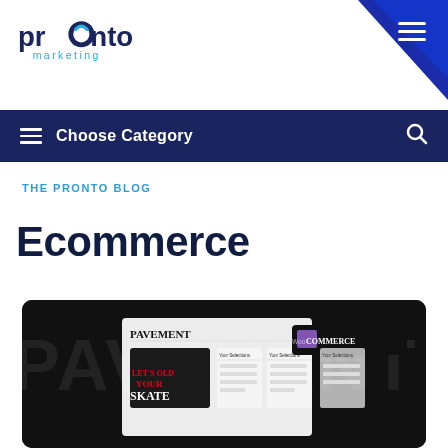[Figure (logo): Pronto Marketing logo — stylized blue text 'pronto' with swirl in the 'o', and 'marketing' below in lighter blue]
[Figure (illustration): Dark navy blue diagonal shape in the top-right corner with a white hamburger/menu icon]
Choose Category (navigation bar with hamburger menu and search icon)
THE PRONTO BLOG
Ecommerce
[Figure (screenshot): Dark article card thumbnail showing a WooCommerce screenshot — black background with 'PAVEMENT' logo text, skate-themed image on left, WooCommerce logo on right, and 'Your Selections' panels visible]